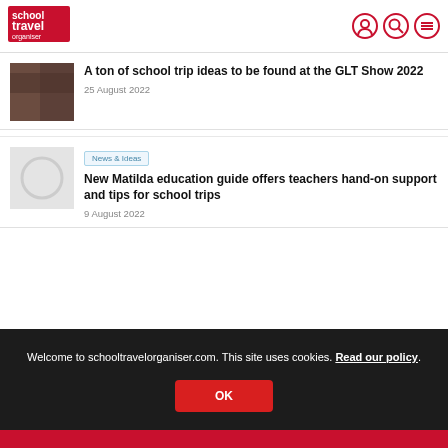school travel organiser
A ton of school trip ideas to be found at the GLT Show 2022
25 August 2022
News & Ideas
New Matilda education guide offers teachers hand-on support and tips for school trips
9 August 2022
Welcome to schooltravelorganiser.com. This site uses cookies. Read our policy.
OK